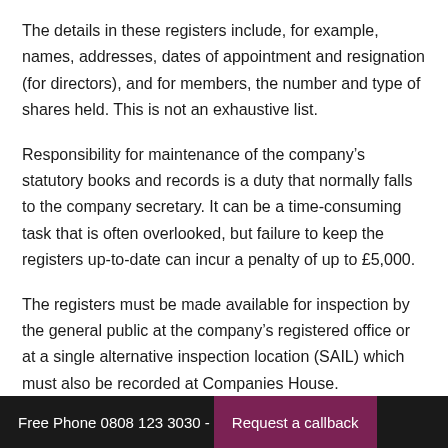The details in these registers include, for example, names, addresses, dates of appointment and resignation (for directors), and for members, the number and type of shares held. This is not an exhaustive list.
Responsibility for maintenance of the company's statutory books and records is a duty that normally falls to the company secretary. It can be a time-consuming task that is often overlooked, but failure to keep the registers up-to-date can incur a penalty of up to £5,000.
The registers must be made available for inspection by the general public at the company's registered office or at a single alternative inspection location (SAIL) which must also be recorded at Companies House.
Free Phone 0808 123 3030 - Request a callback